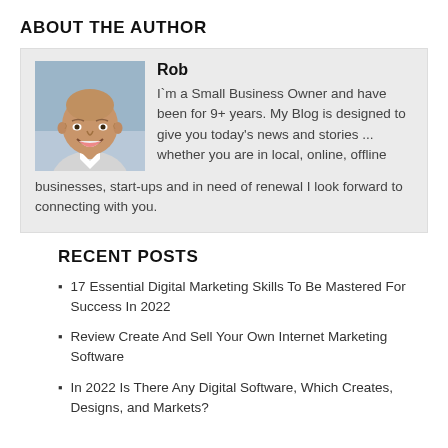ABOUT THE AUTHOR
[Figure (photo): Headshot of an elderly smiling man with a shaved head, the author Rob, used in the About the Author section.]
Rob
I`m a Small Business Owner and have been for 9+ years. My Blog is designed to give you today's news and stories ... whether you are in local, online, offline businesses, start-ups and in need of renewal I look forward to connecting with you.
RECENT POSTS
17 Essential Digital Marketing Skills To Be Mastered For Success In 2022
Review Create And Sell Your Own Internet Marketing Software
In 2022 Is There Any Digital Software, Which Creates, Designs, and Markets?